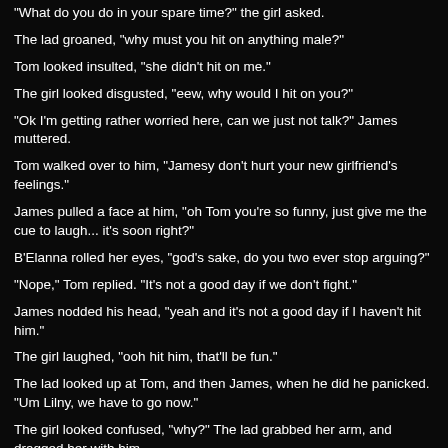"What do you do in your spare time?" the girl asked.
The lad groaned, "why must you hit on anything male?"
Tom looked insulted, "she didn't hit on me."
The girl looked disgusted, "eew, why would I hit on you?"
"Ok I'm getting rather worried here, can we just not talk?" James muttered.
Tom walked over to him, "Jamesy don't hurt your new girlfriend's feelings."
James pulled a face at him, "oh Tom you're so funny, just give me the cue to laugh... it's soon right?"
B'Elanna rolled her eyes, "god's sake, do you two ever stop arguing?"
"Nope," Tom replied. "It's not a good day if we don't fight."
James nodded his head, "yeah and it's not a good day if I haven't hit him."
The girl laughed, "ooh hit him, that'll be fun."
The lad looked up at Tom, and then James, when he did he panicked. "Um Lilny, we have to go now."
The girl looked confused, "why?" The lad grabbed her arm, and dragged her with him.
Tom narrowed his eyes in a confused manner, "so what was that all..."